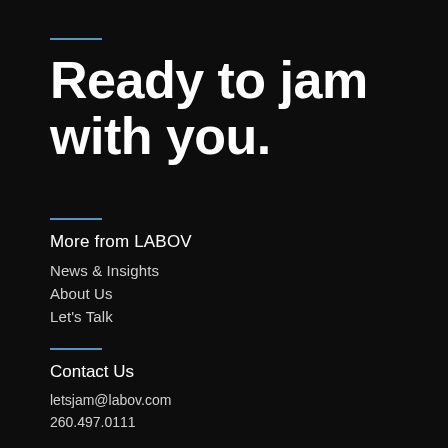Ready to jam with you.
More from LABOV
News & Insights
About Us
Let's Talk
Contact Us
letsjam@labov.com
260.497.0111